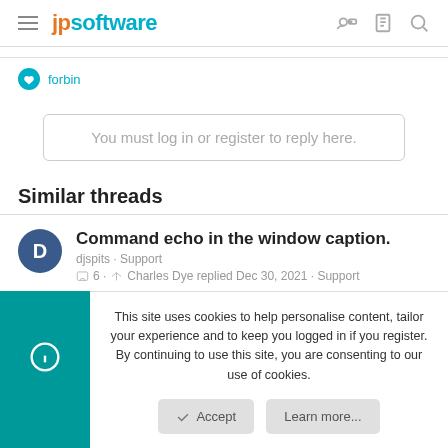jpsoftware
forbin
You must log in or register to reply here.
Similar threads
Command echo in the window caption. djspits · Support 6 · Charles Dye replied Dec 30, 2021 · Support
This site uses cookies to help personalise content, tailor your experience and to keep you logged in if you register. By continuing to use this site, you are consenting to our use of cookies.